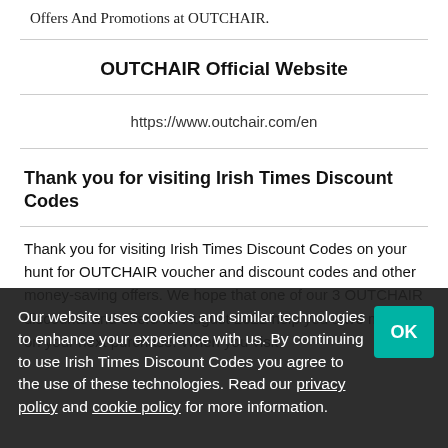Offers And Promotions at OUTCHAIR.
OUTCHAIR Official Website
https://www.outchair.com/en
Thank you for visiting Irish Times Discount Codes
Thank you for visiting Irish Times Discount Codes on your hunt for OUTCHAIR voucher and discount codes and other money-saving offers. We hope that one of our 3 OUTCHAIR discounts and offers for August 2022 help you save money on your next purchase. When you visit
Our website uses cookies and similar technologies to enhance your experience with us. By continuing to use Irish Times Discount Codes you agree to the use of these technologies. Read our privacy policy and cookie policy for more information.